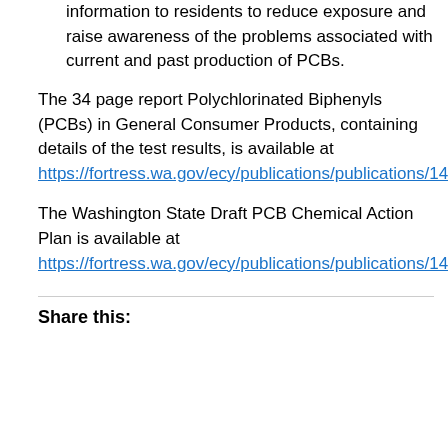information to residents to reduce exposure and raise awareness of the problems associated with current and past production of PCBs.
The 34 page report Polychlorinated Biphenyls (PCBs) in General Consumer Products, containing details of the test results, is available at https://fortress.wa.gov/ecy/publications/publications/140403 5.pdf
The Washington State Draft PCB Chemical Action Plan is available at https://fortress.wa.gov/ecy/publications/publications/1407024.pdf
Share this: